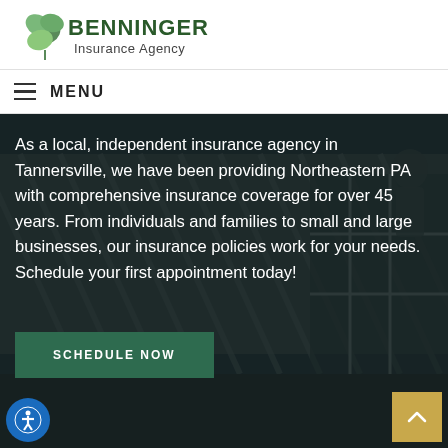[Figure (logo): Benninger Insurance Agency logo with green shamrock/clover and dark green text]
MENU
[Figure (photo): Background photo of a house roof/solar panels with a person in the background, dark overlay]
As a local, independent insurance agency in Tannersville, we have been providing Northeastern PA with comprehensive insurance coverage for over 45 years. From individuals and families to small and large businesses, our insurance policies work for your needs. Schedule your first appointment today!
SCHEDULE NOW